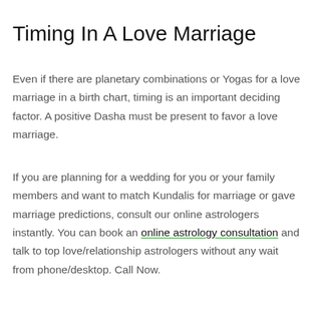Timing In A Love Marriage
Even if there are planetary combinations or Yogas for a love marriage in a birth chart, timing is an important deciding factor. A positive Dasha must be present to favor a love marriage.
If you are planning for a wedding for you or your family members and want to match Kundalis for marriage or gave marriage predictions, consult our online astrologers instantly. You can book an online astrology consultation and talk to top love/relationship astrologers without any wait from phone/desktop. Call Now.